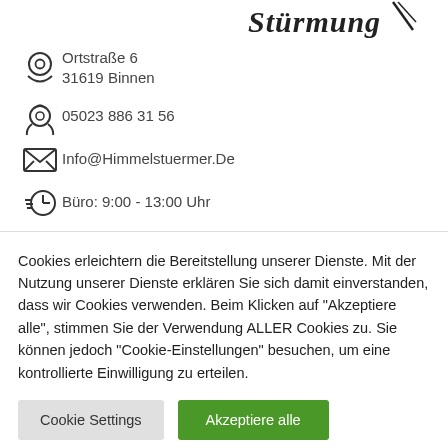[Figure (logo): Partial logo/text at top right, appears to be a cursive/italic brand name with a decorative swoosh]
Ortstraße 6
31619 Binnen
05023 886 31 56
Info@Himmelstuermer.De
Büro: 9:00 - 13:00 Uhr
Cookies erleichtern die Bereitstellung unserer Dienste. Mit der Nutzung unserer Dienste erklären Sie sich damit einverstanden, dass wir Cookies verwenden. Beim Klicken auf "Akzeptiere alle", stimmen Sie der Verwendung ALLER Cookies zu. Sie können jedoch "Cookie-Einstellungen" besuchen, um eine kontrollierte Einwilligung zu erteilen.
Cookie Settings
Akzeptiere alle